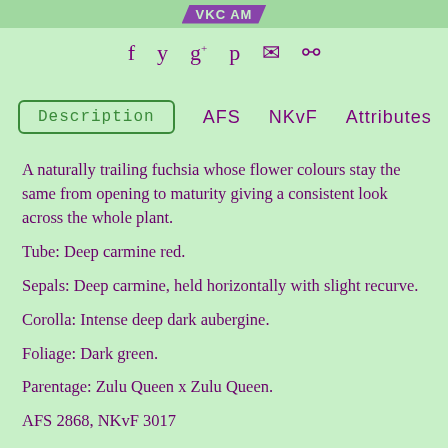VKC AM
[Figure (infographic): Social media icons: facebook, twitter, google+, pinterest, email, link]
Description   AFS   NKvF   Attributes
A naturally trailing fuchsia whose flower colours stay the same from opening to maturity giving a consistent look across the whole plant.
Tube: Deep carmine red.
Sepals: Deep carmine, held horizontally with slight recurve.
Corolla: Intense deep dark aubergine.
Foliage: Dark green.
Parentage: Zulu Queen x Zulu Queen.
AFS 2868, NKvF 3017